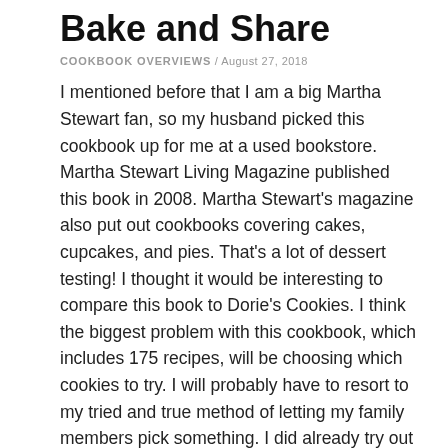Bake and Share
COOKBOOK OVERVIEWS / AUGUST 27, 2018
I mentioned before that I am a big Martha Stewart fan, so my husband picked this cookbook up for me at a used bookstore. Martha Stewart Living Magazine published this book in 2008. Martha Stewart's magazine also put out cookbooks covering cakes, cupcakes, and pies. That's a lot of dessert testing! I thought it would be interesting to compare this book to Dorie's Cookies. I think the biggest problem with this cookbook, which includes 175 recipes, will be choosing which cookies to try. I will probably have to resort to my tried and true method of letting my family members pick something. I did already try out one of the chocolate chip cookie recipes, which was really good, so I will share that later this week. But I really one to try out something a little more exciting. Hope everyone has a good Monday, and I'll be back with more exciting details this week.